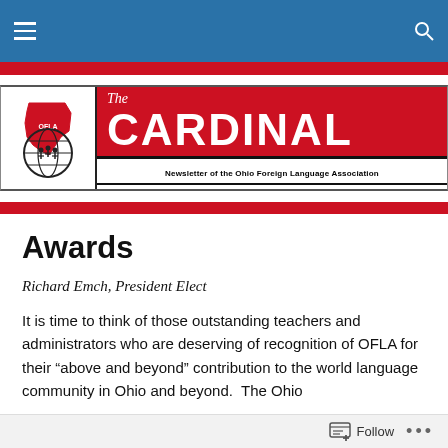Navigation bar with hamburger menu and search icon
[Figure (logo): The Cardinal — Newsletter of the Ohio Foreign Language Association banner with OFLA globe logo on left and red title block on right]
Awards
Richard Emch, President Elect
It is time to think of those outstanding teachers and administrators who are deserving of recognition of OFLA for their “above and beyond” contribution to the world language community in Ohio and beyond.  The Ohio
Follow ...